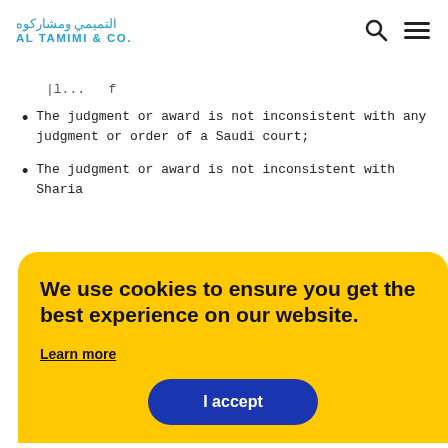Al Tamimi & Co. — website header with logo and navigation icons
The judgment or award is not inconsistent with any judgment or order of a Saudi court;
The judgment or award is not inconsistent with Sharia
We use cookies to ensure you get the best experience on our website.
Learn more
I accept